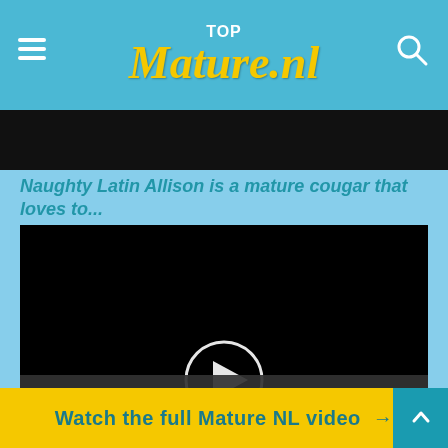TopMature.nl
Naughty Latin Allison is a mature cougar that loves to...
[Figure (screenshot): Video player with black background and a circular play button in the center]
This site uses cookies. By continuing to browse the site you
Watch the full Mature NL video →